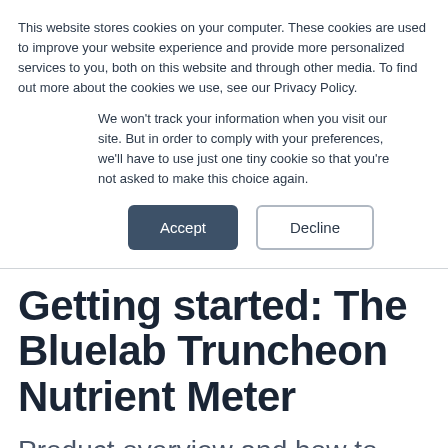This website stores cookies on your computer. These cookies are used to improve your website experience and provide more personalized services to you, both on this website and through other media. To find out more about the cookies we use, see our Privacy Policy.
We won't track your information when you visit our site. But in order to comply with your preferences, we'll have to use just one tiny cookie so that you're not asked to make this choice again.
Accept | Decline
Getting started: The Bluelab Truncheon Nutrient Meter
Product overview and how to take your first reading